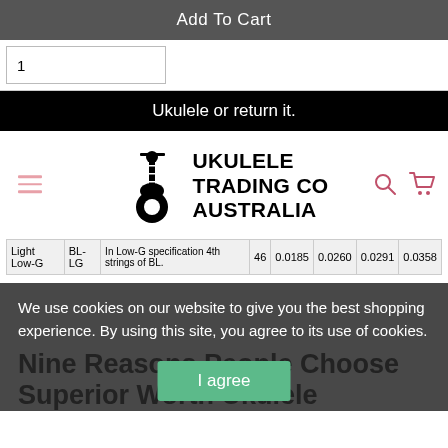Add To Cart
1
Ukulele or return it.
[Figure (logo): Ukulele Trading Co Australia logo with ukulele graphic]
| Light Low-G | BL-LG | In Low-G specification 4th strings of BL. | 46 | 0.0185 | 0.0260 | 0.0291 | 0.0358 |
We use cookies on our website to give you the best shopping experience. By using this site, you agree to its use of cookies.
Nine Reasons People Choose Superior Worth Ukulele